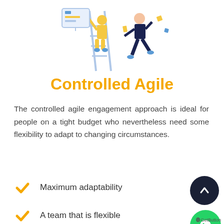[Figure (illustration): Isometric illustration of two people working on a project — one on a ladder painting/writing, another running/jumping nearby]
Controlled Agile
The controlled agile engagement approach is ideal for people on a tight budget who nevertheless need some flexibility to adapt to changing circumstances.
Maximum adaptability
A team that is flexible
Small-scale initiatives
Complete budgetary control